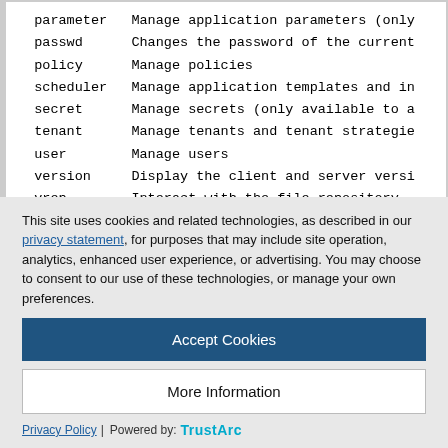| command | description |
| --- | --- |
| parameter | Manage application parameters (only... |
| passwd | Changes the password of the current... |
| policy | Manage policies |
| scheduler | Manage application templates and in... |
| secret | Manage secrets (only available to a... |
| tenant | Manage tenants and tenant strategie... |
| user | Manage users |
| version | Display the client and server versi... |
| vrep | Interact with the file repository |
| whoami | Print the tenant, username and role... |
This site uses cookies and related technologies, as described in our privacy statement, for purposes that may include site operation, analytics, enhanced user experience, or advertising. You may choose to consent to our use of these technologies, or manage your own preferences.
Accept Cookies
More Information
Privacy Policy | Powered by: TrustArc